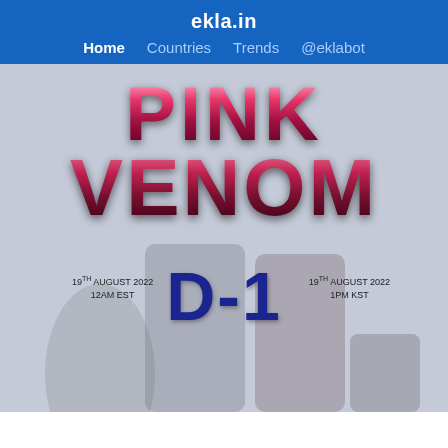ekla.in
Home  Countries  Trends  @eklabot
[Figure (photo): BLACKPINK Pink Venom D-1 promotional poster. Large stylized pink metallic text reads 'PINK VENOM' at top. Below it 'D-1' in large blue/dark text. Date text on left: '19TH AUGUST 2022 12AM EST' and on right: '19TH AUGUST 2022 1PM KST'. Four female K-pop group members posed against a light grey background wearing stylish outfits.]